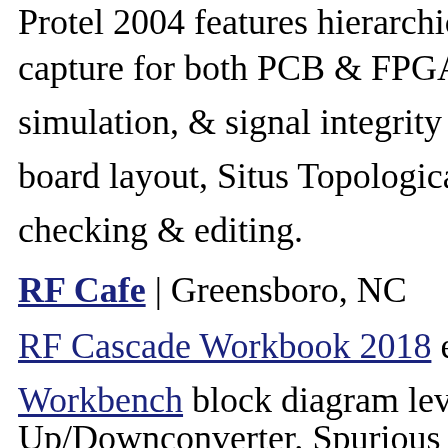Protel 2004 features hierarchical, multi-sheet schematic capture for both PCB & FPGA implementations, mixed-signal simulation, & signal integrity analysis, interactive 3D board layout, Situs Topological autorouting, design rule checking & editing.
RF Cafe | Greensboro, NC
RF Cascade Workbook 2018 extensively uses RF Workbench block diagram level RF system analysis. Up/Downconverter, Spurious Analysis